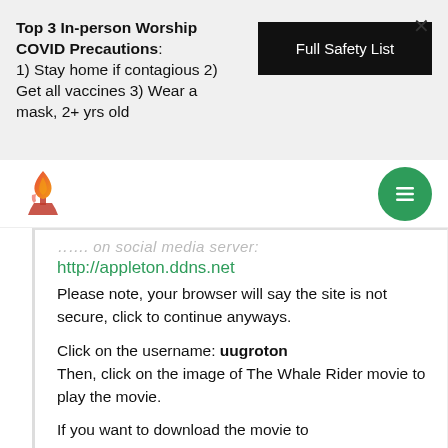Top 3 In-person Worship COVID Precautions: 1) Stay home if contagious 2) Get all vaccines 3) Wear a mask, 2+ yrs old
Full Safety List
[Figure (logo): Unitarian Universalist chalice flame logo in red/orange gradient]
[Figure (other): Green circular hamburger menu button with three white horizontal lines]
watch on social media server:
http://appleton.ddns.net
Please note, your browser will say the site is not secure, click to continue anyways.
Click on the username: uugroton Then, click on the image of The Whale Rider movie to play the movie.
If you want to download the movie to